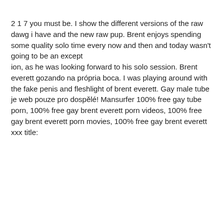2 1 7 you must be. I show the different versions of the raw dawg i have and the new raw pup. Brent enjoys spending some quality solo time every now and then and today wasn't going to be an except
ion, as he was looking forward to his solo session. Brent everett gozando na própria boca. I was playing around with the fake penis and fleshlight of brent everett. Gay male tube je web pouze pro dospělé! Mansurfer 100% free gay tube porn, 100% free gay brent everett porn videos, 100% free gay brent everett porn movies, 100% free gay brent everett xxx title: